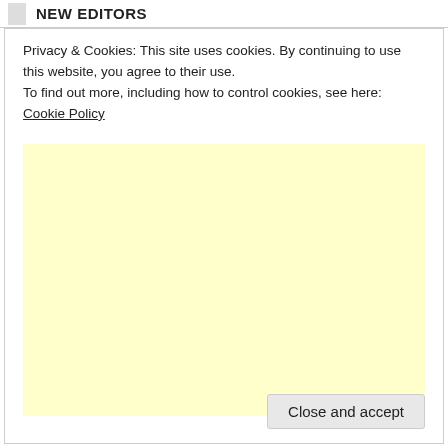NEW EDITORS
Privacy & Cookies: This site uses cookies. By continuing to use this website, you agree to their use.
To find out more, including how to control cookies, see here: Cookie Policy
[Figure (other): Light yellow advertisement placeholder box]
Close and accept